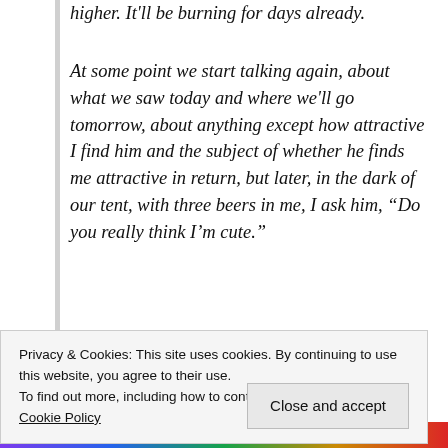higher. It'll be burning for days already.
At some point we start talking again, about what we saw today and where we'll go tomorrow, about anything except how attractive I find him and the subject of whether he finds me attractive in return, but later, in the dark of our tent, with three beers in me, I ask him, “Do you really think I’m cute.”
And he says, “Yeah, Braxton. I really do.”
Privacy & Cookies: This site uses cookies. By continuing to use this website, you agree to their use.
To find out more, including how to control cookies, see here:
Cookie Policy
Close and accept
feminist-friendly romance and erotica